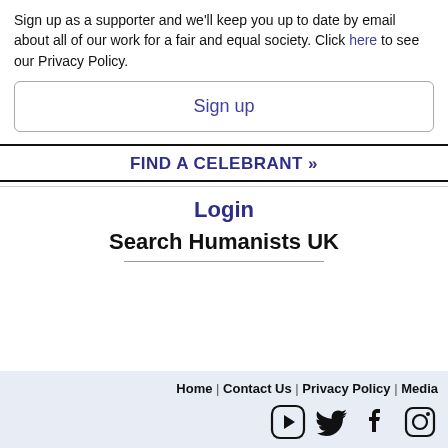Sign up as a supporter and we'll keep you up to date by email about all of our work for a fair and equal society. Click here to see our Privacy Policy.
Sign up
FIND A CELEBRANT »
Login
Search Humanists UK
Home | Contact Us | Privacy Policy | Media